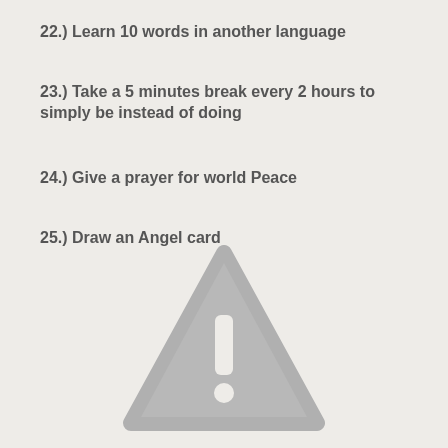22.) Learn 10 words in another language
23.) Take a 5 minutes break every 2 hours to simply be instead of doing
24.) Give a prayer for world Peace
25.) Draw an Angel card
[Figure (illustration): A grey warning triangle with an exclamation mark inside, rendered as a simple icon on a light background.]